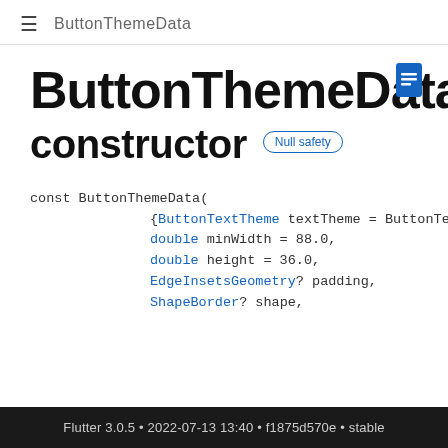≡  ButtonThemeData
ButtonThemeData constructor Null safety
const ButtonThemeData(
  {ButtonTextTheme textTheme = ButtonText
  double minWidth = 88.0,
  double height = 36.0,
  EdgeInsetsGeometry? padding,
  ShapeBorder? shape,
Flutter 3.0.5 • 2022-07-13 13:40 • f1875d570e • stable